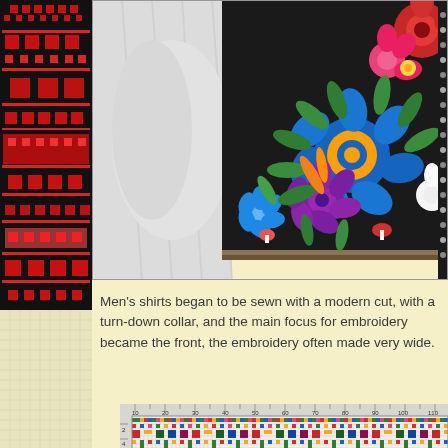[Figure (photo): Close-up of red and black cross-stitch embroidery pattern on left strip]
[Figure (photo): Black vest or garment with colorful floral embroidery including blue, red, pink, purple flowers and green leaves on white shirt background]
Men's shirts began to be sewn with a modern cut, with a turn-down collar, and the main focus for embroidery became the front, the embroidery often made very wide.
[Figure (photo): Cross-stitch embroidery pattern chart with colorful geometric and floral motifs on grid paper with rulers]